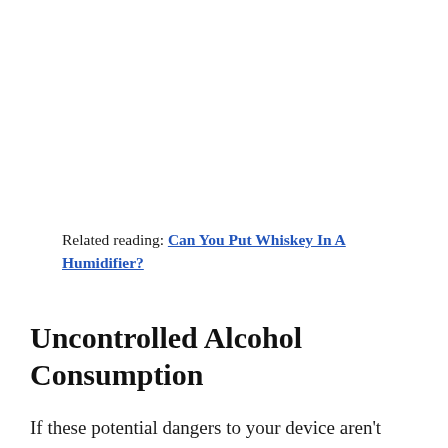Related reading: Can You Put Whiskey In A Humidifier?
Uncontrolled Alcohol Consumption
If these potential dangers to your device aren't